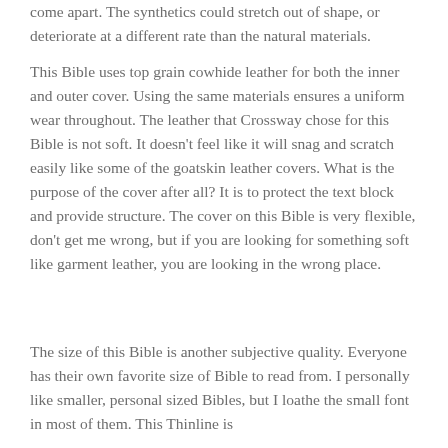come apart.  The synthetics could stretch out of shape, or deteriorate at a different rate than the natural materials.
This Bible uses top grain cowhide leather for both the inner and outer cover.  Using the same materials ensures a uniform wear throughout.  The leather that Crossway chose for this Bible is not soft.  It doesn't feel like it will snag and scratch easily like some of the goatskin leather covers.  What is the purpose of the cover after all?  It is to protect the text block and provide structure.  The cover on this Bible is very flexible, don't get me wrong, but if you are looking for something soft like garment leather, you are looking in the wrong place.
The size of this Bible is another subjective quality.  Everyone has their own favorite size of Bible to read from.  I personally like smaller, personal sized Bibles, but I loathe the small font in most of them.  This Thinline is